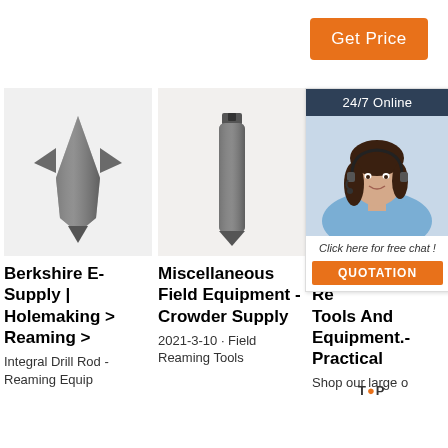[Figure (other): Orange 'Get Price' button]
[Figure (other): 24/7 Online customer support sidebar with woman with headset, 'Click here for free chat!' text, and QUOTATION button]
[Figure (photo): Photo of a drill rod / reaming tool bit - dark metal conical shape]
Berkshire E-Supply | Holemaking > Reaming >
Integral Drill Rod - Reaming Equip
[Figure (photo): Photo of a drill rod / reaming tool bit - dark metal elongated shape with notch at top]
Miscellaneous Field Equipment - Crowder Supply
2021-3-10 · Field Reaming Tools
[Figure (photo): Partially visible photo of another reaming tool]
Field Reaming Tools And Equipment.- Practical
Shop our large o